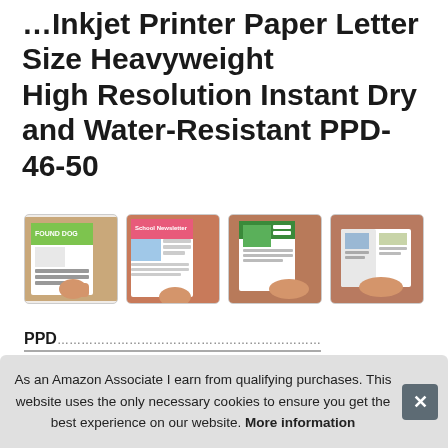...Inkjet Printer Paper Letter Size Heavyweight High Resolution Instant Dry and Water-Resistant PPD-46-50
#ad
[Figure (photo): Four product images showing printed newsletters/documents being held and folded]
PPD... prints — equivalent or superior to main brands in terms of professional print quality. Also ideal for calendars...
This...
As an Amazon Associate I earn from qualifying purchases. This website uses the only necessary cookies to ensure you get the best experience on our website. More information